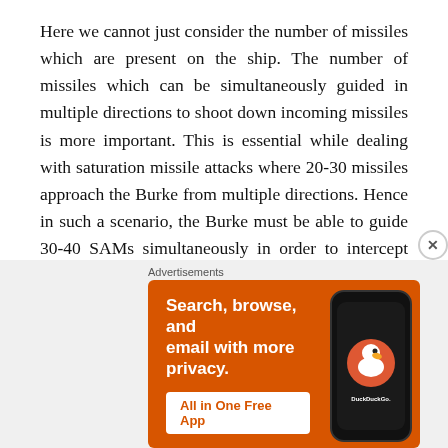Here we cannot just consider the number of missiles which are present on the ship. The number of missiles which can be simultaneously guided in multiple directions to shoot down incoming missiles is more important. This is essential while dealing with saturation missile attacks where 20-30 missiles approach the Burke from multiple directions. Hence in such a scenario, the Burke must be able to guide 30-40 SAMs simultaneously in order to intercept these threats.
This is, however, impossible using the SM-2 which features a semi-active radar seeker and requires...
[Figure (other): DuckDuckGo advertisement banner with orange background. Text reads: Search, browse, and email with more privacy. All in One Free App. Shows a phone mockup with DuckDuckGo logo.]